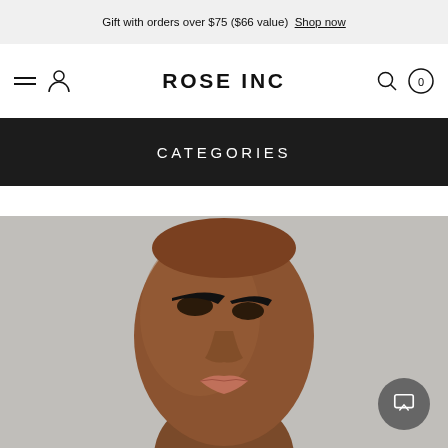Gift with orders over $75 ($66 value)  Shop now
[Figure (logo): Rose Inc brand navigation bar with hamburger menu, user icon, ROSE INC logo, search icon, and cart with 0 items]
CATEGORIES
[Figure (photo): Close-up portrait of a Black woman with dramatic cat-eye liner makeup, looking upward, against a light gray background]